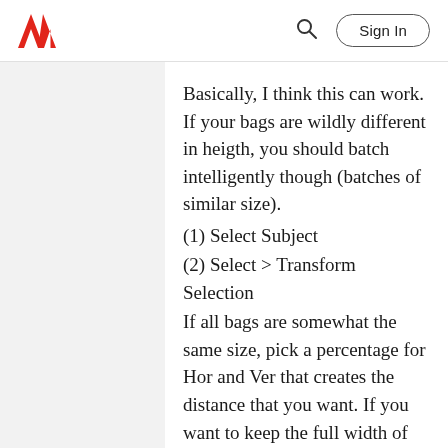Adobe | Sign In
Basically, I think this can work. If your bags are wildly different in heigth, you should batch intelligently though (batches of similar size).
(1) Select Subject
(2) Select > Transform Selection
If all bags are somewhat the same size, pick a percentage for Hor and Ver that creates the distance that you want. If you want to keep the full width of your photo for some reason, specify a horizontal % that exceeds the width in all cases — for example: 300%)
(3) Edit > Crop